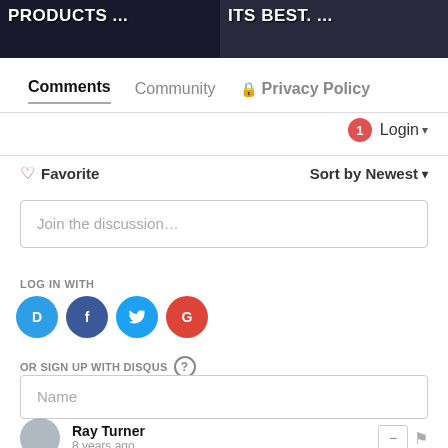[Figure (screenshot): Two thumbnail images side by side with white text: left shows 'PRODUCTS ...' on dark background, right shows 'ITS BEST. ...' on dark background]
Comments  Community  🔒 Privacy Policy
1  Login ▾
♡ Favorite   Sort by Newest ▾
Join the discussion...
LOG IN WITH
[Figure (logo): Four social login icons: Disqus (blue), Facebook (dark blue), Twitter (light blue), Google (red)]
OR SIGN UP WITH DISQUS ?
Name
Ray Turner
8 years ago